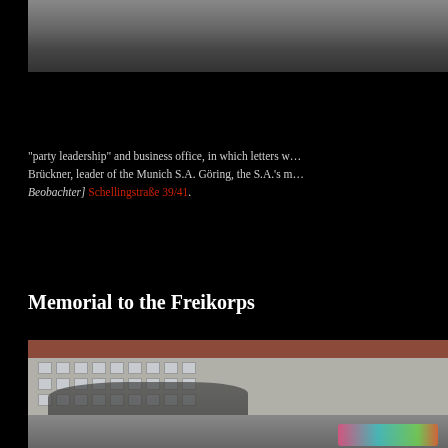[Figure (photo): Black and white photograph of a building, partially visible at the top of the page]
“party leadership” and business office, in which letters w… Brückner, leader of the Munich S.A. Göring, the S.A.’s m… Beobachter] Schellingstraße 39/41.
Memorial to the Freikorps
[Figure (photo): Color photograph of a large institutional building with a red-tiled roof, bare trees in front, and graffiti on a wall in the foreground]